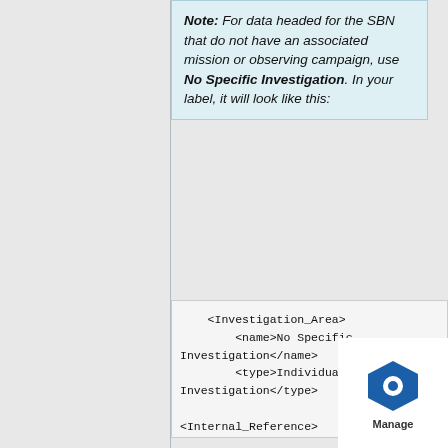Note: For data headed for the SBN that do not have an associated mission or observing campaign, use No Specific Investigation. In your label, it will look like this:
<Investigation_Area>
    <name>No Specific Investigation</name>
    <type>Individual Investigation</type>

<Internal_Reference>

<lid_reference>urn:nasa:pds:co...

<reference_type>data_to_investi...

</Internal_Reference>
    </Investigation_A...